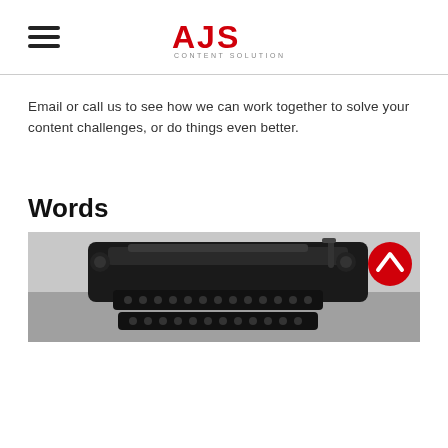AJS CONTENT SOLUTIONS
Email or call us to see how we can work together to solve your content challenges, or do things even better.
Words
[Figure (photo): Black and white photograph of a vintage typewriter on a desk, with a red circular back-to-top button in the top-right corner of the image block]